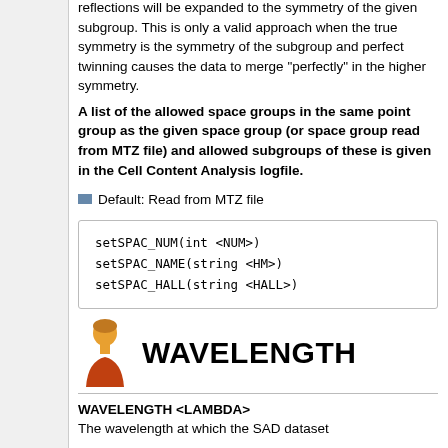reflections will be expanded to the symmetry of the given subgroup. This is only a valid approach when the true symmetry is the symmetry of the subgroup and perfect twinning causes the data to merge "perfectly" in the higher symmetry.
A list of the allowed space groups in the same point group as the given space group (or space group read from MTZ file) and allowed subgroups of these is given in the Cell Content Analysis logfile.
Default: Read from MTZ file
setSPAC_NUM(int <NUM>)
setSPAC_NAME(string <HM>)
setSPAC_HALL(string <HALL>)
WAVELENGTH
WAVELENGTH <LAMBDA>
The wavelength at which the SAD dataset